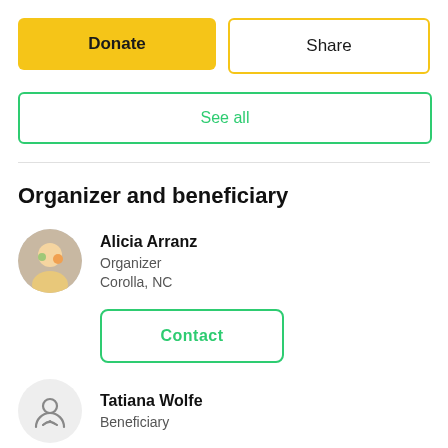[Figure (other): Donate button (yellow/gold filled) and Share button (white with yellow border) side by side]
[Figure (other): See all button with green border]
Organizer and beneficiary
[Figure (photo): Circular avatar photo of Alicia Arranz]
Alicia Arranz
Organizer
Corolla, NC
[Figure (other): Contact button with green border]
[Figure (other): Circular placeholder avatar icon for Tatiana Wolfe]
Tatiana Wolfe
Beneficiary